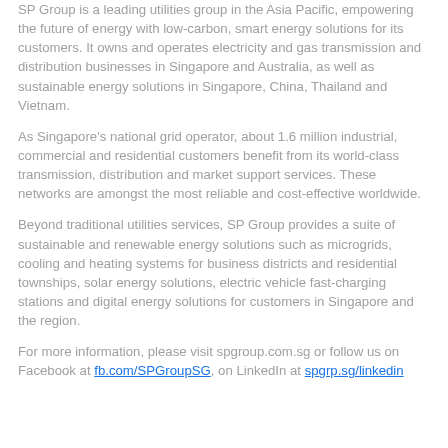SP Group is a leading utilities group in the Asia Pacific, empowering the future of energy with low-carbon, smart energy solutions for its customers. It owns and operates electricity and gas transmission and distribution businesses in Singapore and Australia, as well as sustainable energy solutions in Singapore, China, Thailand and Vietnam.
As Singapore's national grid operator, about 1.6 million industrial, commercial and residential customers benefit from its world-class transmission, distribution and market support services. These networks are amongst the most reliable and cost-effective worldwide.
Beyond traditional utilities services, SP Group provides a suite of sustainable and renewable energy solutions such as microgrids, cooling and heating systems for business districts and residential townships, solar energy solutions, electric vehicle fast-charging stations and digital energy solutions for customers in Singapore and the region.
For more information, please visit spgroup.com.sg or follow us on Facebook at fb.com/SPGroupSG, on LinkedIn at spgrp.sg/linkedin